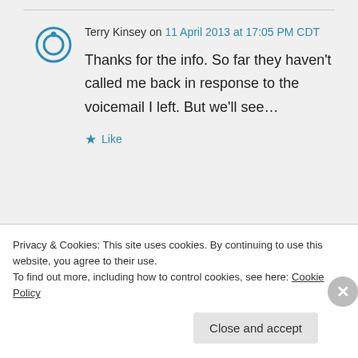Terry Kinsey on 11 April 2013 at 17:05 PM CDT
Thanks for the info. So far they haven't called me back in response to the voicemail I left. But we'll see…
★ Like
Privacy & Cookies: This site uses cookies. By continuing to use this website, you agree to their use. To find out more, including how to control cookies, see here: Cookie Policy
Close and accept